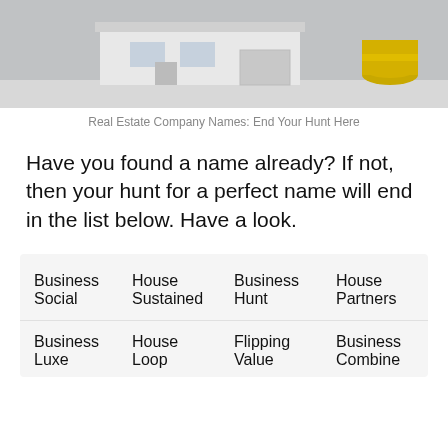[Figure (photo): Photo of a model house with gold coins and grey background — real estate themed image]
Real Estate Company Names: End Your Hunt Here
Have you found a name already? If not, then your hunt for a perfect name will end in the list below. Have a look.
| Business Social | House Sustained | Business Hunt | House Partners |
| Business Luxe | House Loop | Flipping Value | Business Combine |